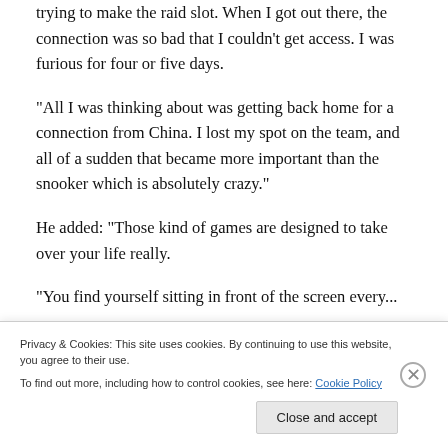trying to make the raid slot. When I got out there, the connection was so bad that I couldn't get access. I was furious for four or five days.
“All I was thinking about was getting back home for a connection from China. I lost my spot on the team, and all of a sudden that became more important than the snooker which is absolutely crazy.”
He added: “Those kind of games are designed to take over your life really.
“You find yourself sitting in front of the screen every...
Privacy & Cookies: This site uses cookies. By continuing to use this website, you agree to their use.
To find out more, including how to control cookies, see here: Cookie Policy